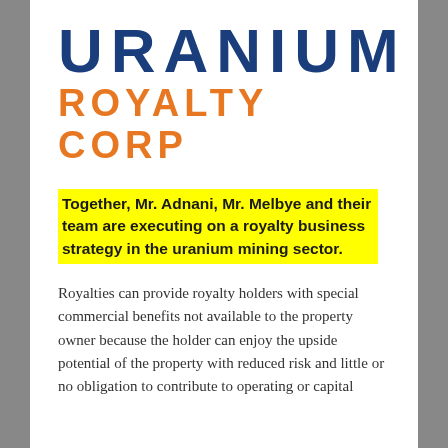[Figure (logo): Uranium Royalty Corp logo — 'URANIUM' in large dark blue bold letters, 'ROYALTY CORP' in large orange bold letters below]
Together, Mr. Adnani, Mr. Melbye and their team are executing on a royalty business strategy in the uranium mining sector.
Royalties can provide royalty holders with special commercial benefits not available to the property owner because the holder can enjoy the upside potential of the property with reduced risk and little or no obligation to contribute to operating or capital